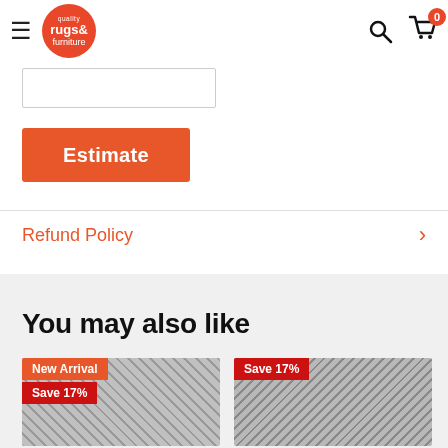quality rugs & furniture
[Figure (screenshot): Input text box for zip code or similar field]
[Figure (illustration): Orange Estimate button]
Refund Policy
You may also like
[Figure (photo): Product card with New Arrival badge and Save 17% badge, rug pattern]
[Figure (photo): Product card with Save 17% badge, rug pattern]